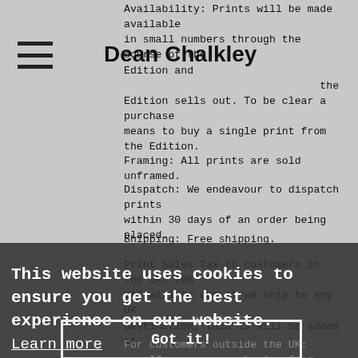Dean Chalkley
Availability: Prints will be made available in small numbers through the course of the Edition and once the final print in the Edition sells out. To be clear a purchase means to buy a single print from the Edition.
Framing: All prints are sold unframed.
Dispatch: We endeavour to dispatch prints within 30 days of an order being placed.
Shipping: Free shipping.
Print Sales Tax to customers in the UK: 20% VAT will be due if we ship to any UK destination, this is will be added at checkout.
For customers outside the UK: If you are purchasing from overseas sales will be zero rated for UK VAT at checkout, however any international customs/import taxes (inc any EU import VAT) due will be the responsibility of the buyer and will need to be in paid to your countries authorities / delivery courier on receipt of the print/s.
For further information please email info@deanchalkley.com
This website uses cookies to ensure you get the best experience on our website. Learn more
Got it!